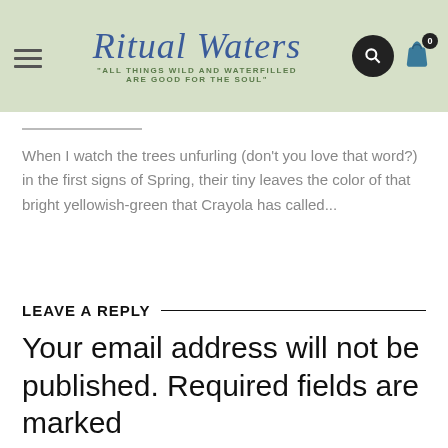[Figure (logo): Ritual Waters logo with script text and tagline 'All things wild and waterfilled are good for the soul']
When I watch the trees unfurling (don't you love that word?) in the first signs of Spring, their tiny leaves the color of that bright yellowish-green that Crayola has called...
LEAVE A REPLY
Your email address will not be published. Required fields are marked
Comment